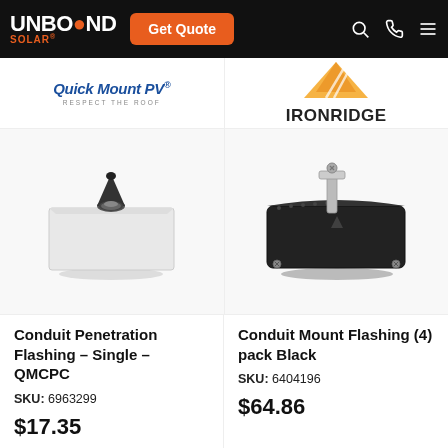UNBOUND SOLAR® | Get Quote
[Figure (logo): Quick Mount PV – Respect the Roof logo]
[Figure (logo): IronRidge logo with orange mountain/triangle graphic]
[Figure (photo): Conduit Penetration Flashing – Single – QMCPC product photo: white square flashing base with black conical conduit seal]
[Figure (photo): Conduit Mount Flashing (4) pack Black product photo: black square flashing base with metal L-bracket and screws]
Conduit Penetration Flashing – Single – QMCPC
SKU: 6963299
$17.35
Conduit Mount Flashing (4) pack Black
SKU: 6404196
$64.86